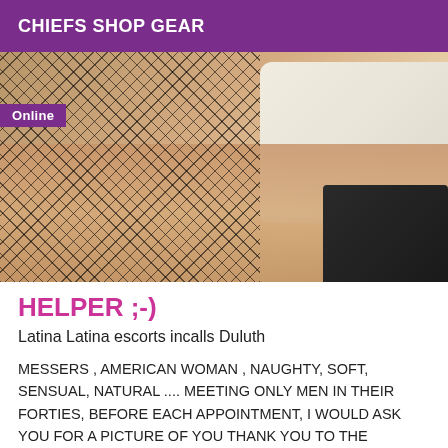CHIEFS SHOP GEAR
Online
[Figure (photo): A person wearing fishnet stockings lying on a bed with white pillows, wearing black high heels]
HELPER ;-)
Latina Latina escorts incalls Duluth
MESSERS , AMERICAN WOMAN , NAUGHTY, SOFT, SENSUAL, NATURAL .... MEETING ONLY MEN IN THEIR FORTIES, BEFORE EACH APPOINTMENT, I WOULD ASK YOU FOR A PICTURE OF YOU THANK YOU TO THE PLEASURE OF MEETING YOU